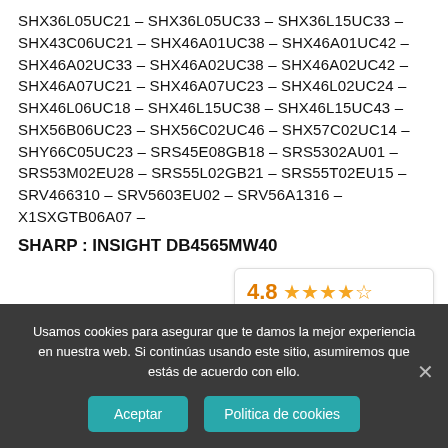SHX36L05UC21 – SHX36L05UC33 – SHX36L15UC33 – SHX43C06UC21 – SHX46A01UC38 – SHX46A01UC42 – SHX46A02UC33 – SHX46A02UC38 – SHX46A02UC42 – SHX46A07UC21 – SHX46A07UC23 – SHX46L02UC24 – SHX46L06UC18 – SHX46L15UC38 – SHX46L15UC43 – SHX56B06UC23 – SHX56C02UC46 – SHX57C02UC14 – SHY66C05UC23 – SRS45E08GB18 – SRS5302AU01 – SRS53M02EU28 – SRS55L02GB21 – SRS55T02EU15 – SRV466310 – SRV5603EU02 – SRV56A1316 – X1SXGTB06A07 –
SHARP : INSIGHT DB4565MW40
[Figure (infographic): Google rating widget showing 4.8 stars based on 407 reviews, powered by Google, with a blue button at the bottom.]
Usamos cookies para asegurar que te damos la mejor experiencia en nuestra web. Si continúas usando este sitio, asumiremos que estás de acuerdo con ello.
Aceptar   Politica de cookies